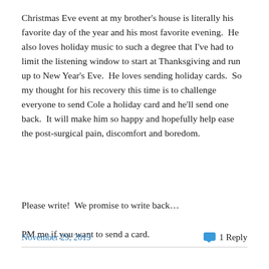Christmas Eve event at my brother's house is literally his favorite day of the year and his most favorite evening.  He also loves holiday music to such a degree that I've had to limit the listening window to start at Thanksgiving and run up to New Year's Eve.  He loves sending holiday cards.  So my thought for his recovery this time is to challenge everyone to send Cole a holiday card and he'll send one back.  It will make him so happy and hopefully help ease the post-surgical pain, discomfort and boredom.
Please write!  We promise to write back…
PM me if you want to send a card.
November 29, 2019   1 Reply